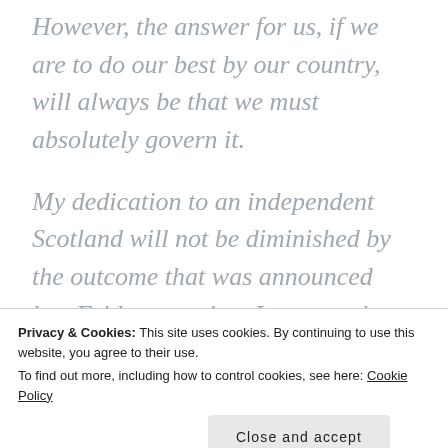However, the answer for us, if we are to do our best by our country, will always be that we must absolutely govern it.
My dedication to an independent Scotland will not be diminished by the outcome that was announced last Friday morning. I suggest that it is only the start of a long road — or a short road — not the end of
Privacy & Cookies: This site uses cookies. By continuing to use this website, you agree to their use.
To find out more, including how to control cookies, see here: Cookie Policy
Close and accept